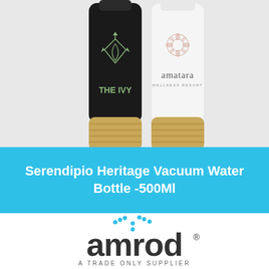[Figure (photo): Two branded vacuum water bottles side by side. Left bottle is black with a gold/bamboo base and THE IVY logo with a leaf icon. Right bottle is white with a gold/bamboo base and 'amatara WELLNESS RESORT' branding with a decorative geometric pattern.]
Serendipio Heritage Vacuum Water Bottle -500Ml
[Figure (logo): amrod logo with registered trademark symbol, dots forming a Y-shape above the text, and tagline 'A TRADE ONLY SUPPLIER' below]